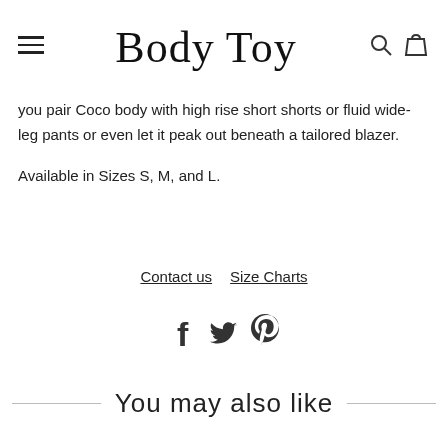Body Toy
you pair Coco body with high rise short shorts or fluid wide-leg pants or even let it peak out beneath a tailored blazer.

Available in Sizes S, M, and L.
Contact us   Size Charts
[Figure (other): Social media icons: Facebook, Twitter, Pinterest]
You may also like